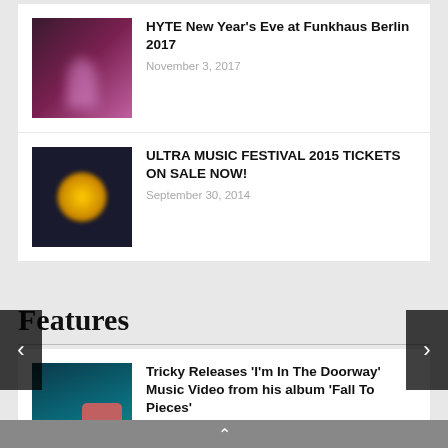HYTE New Year's Eve at Funkhaus Berlin 2017 — November 3, 2017
ULTRA MUSIC FESTIVAL 2015 TICKETS ON SALE NOW! — September 30, 2014
Features
Tricky Releases 'I'm In The Doorway' Music Video from his album 'Fall To Pieces' — August 25, 2020
[Exclusive] UK Duo Wh0 Drops